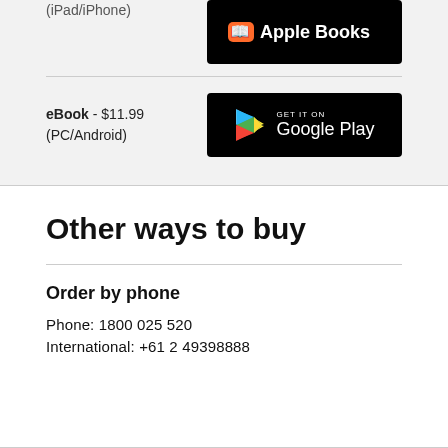(iPad/iPhone)
[Figure (logo): Apple Books store badge on black background]
eBook - $11.99
(PC/Android)
[Figure (logo): Get it on Google Play badge on black background]
Other ways to buy
Order by phone
Phone: 1800 025 520
International: +61 2 49398888